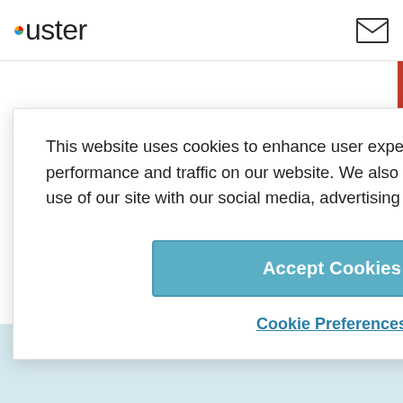Ouster
This website uses cookies to enhance user experience and to analyze performance and traffic on our website. We also share information about your use of our site with our social media, advertising and analytics partners.
Accept Cookies
Cookie Preferences
2019 alone, according to the Mexican government, and that number shows no signs of slowing. But Mexico is a huge place, and there's even more to the...
ADVERTISEMENT